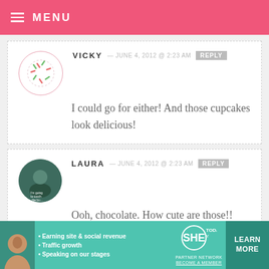MENU
VICKY — JUNE 4, 2012 @ 2:23 AM  REPLY
I could go for either! And those cupcakes look delicious!
LAURA — JUNE 4, 2012 @ 2:23 AM  REPLY
Ooh, chocolate. How cute are those!!
[Figure (infographic): Advertisement banner for SHE Partner Network with photo of woman, bullet points about earning site & social revenue, traffic growth, speaking on our stages, and a Learn More button]